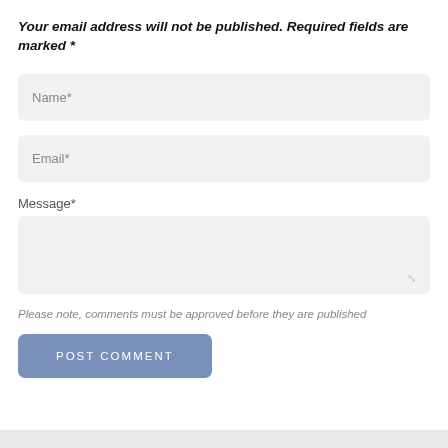Your email address will not be published. Required fields are marked *
Name*
Email*
Message*
Please note, comments must be approved before they are published
POST COMMENT